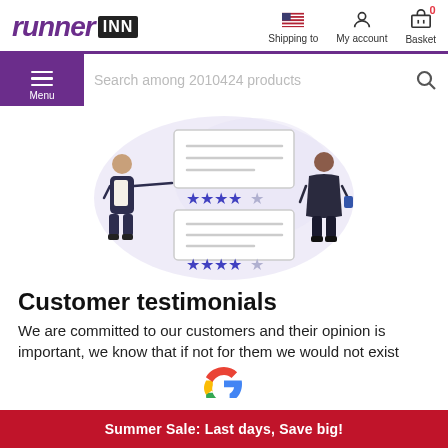runner INN — Shipping to, My account, Basket
Search among 2010424 products
[Figure (illustration): Customer testimonials illustration: two people standing beside review cards with star ratings (4.5 stars each), set against a light purple blob background]
Customer testimonials
We are committed to our customers and their opinion is important, we know that if not for them we would not exist
[Figure (logo): Partial Google logo (G letter in Google colors) visible at bottom]
Summer Sale: Last days, Save big!